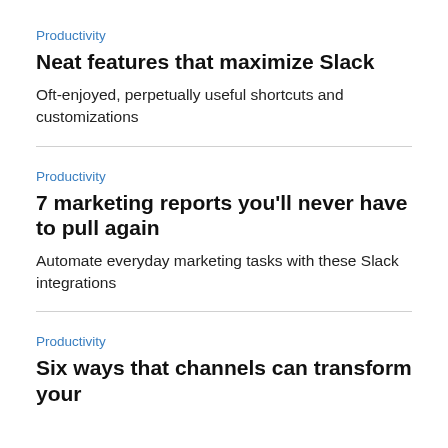Productivity
Neat features that maximize Slack
Oft-enjoyed, perpetually useful shortcuts and customizations
Productivity
7 marketing reports you'll never have to pull again
Automate everyday marketing tasks with these Slack integrations
Productivity
Six ways that channels can transform your